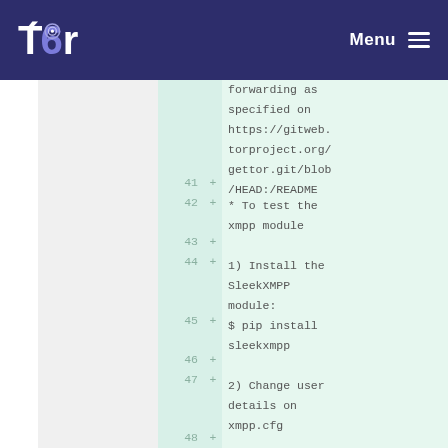Tor — Menu
forwarding as specified on https://gitweb.torproject.org/gettor.git/blob/HEAD:/README
41  +
42  + * To test the xmpp module
43  +
44  + 1) Install the SleekXMPP module:
45  + $ pip install sleekxmpp
46  +
47  + 2) Change user details on xmpp.cfg
48  +